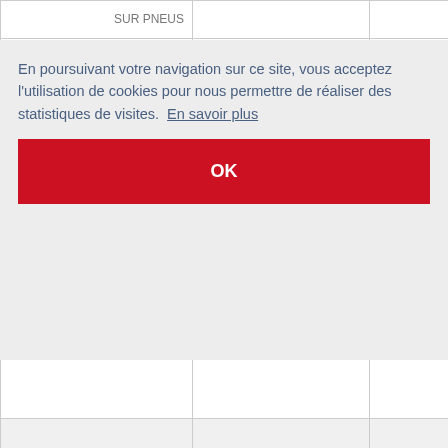| Type | Modèle | Moteur | Ref |
| --- | --- | --- | --- |
| SUR PNEUS |  |  |  |
| PELLE HYDRAULIQUE SUR PNEUS | O&K MH City - A2 PLA | DEUTZ | BF 4M... |
| PELLE HYDRAULIQUE SUR PNEUS | O&K MH City - Plus | CNH | F 4B068... |
|  |  |  | F 4L 91... |
|  |  |  | BF 4M... |
|  |  |  | BF 4M... |
| SUR PNEUS | PLA |  |  |
En poursuivant votre navigation sur ce site, vous acceptez l'utilisation de cookies pour nous permettre de réaliser des statistiques de visites.  En savoir plus
OK